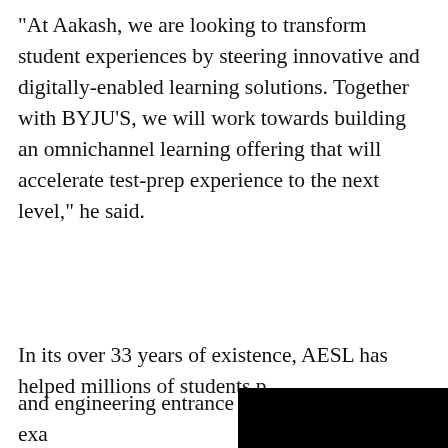"At Aakash, we are looking to transform student experiences by steering innovative and digitally-enabled learning solutions. Together with BYJU'S, we will work towards building an omnichannel learning offering that will accelerate test-prep experience to the next level," he said.
In its over 33 years of existence, AESL has helped millions of students p[repare for medical] and engineering entrance exa[ms through an all-] India network of 215 centres [owned and] franchisees), and a student co[mmunity of over]
L&T commissions green hydrogen plant
Neutral Cipla; target of Rs 950: Motilal O[swal]
HOME   MARKETS   BE A PRO   NEWS   PORTFOLIO